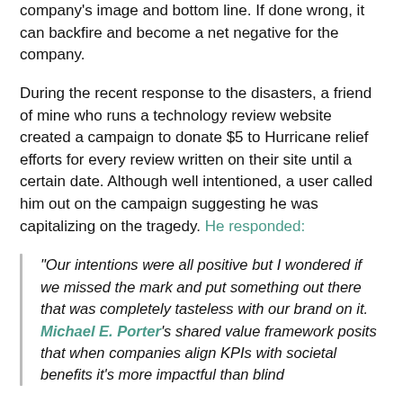company's image and bottom line. If done wrong, it can backfire and become a net negative for the company.
During the recent response to the disasters, a friend of mine who runs a technology review website created a campaign to donate $5 to Hurricane relief efforts for every review written on their site until a certain date. Although well intentioned, a user called him out on the campaign suggesting he was capitalizing on the tragedy. He responded:
“Our intentions were all positive but I wondered if we missed the mark and put something out there that was completely tasteless with our brand on it. Michael E. Porter’s shared value framework posits that when companies align KPIs with societal benefits it’s more impactful than blind